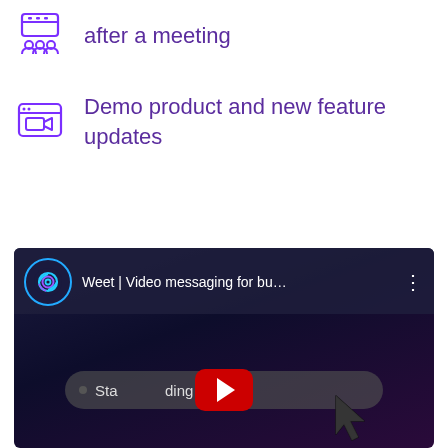after a meeting
Demo product and new feature updates
[Figure (screenshot): YouTube video thumbnail for 'Weet | Video messaging for bu...' showing a dark background with a YouTube play button and a search/recording bar partially visible with cursor arrow. The Weet logo circle appears in the header.]